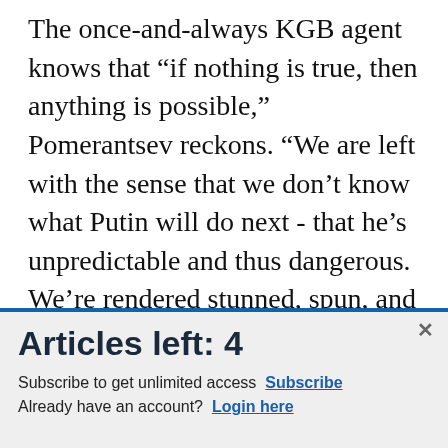The once-and-always KGB agent knows that “if nothing is true, then anything is possible,” Pomerantsev reckons. “We are left with the sense that we don’t know what Putin will do next - that he’s unpredictable and thus dangerous. We’re rendered stunned, spun, and flummoxed by the Kremlin’s weaponization of absurdity and unreality.”
[Figure (screenshot): Advertisement banner for Commissary Click2Go showing logo with green circle, Commissary badge, and partial text 'order groceries | PICKUP']
Articles left: 4
Subscribe to get unlimited access  Subscribe
Already have an account?  Login here